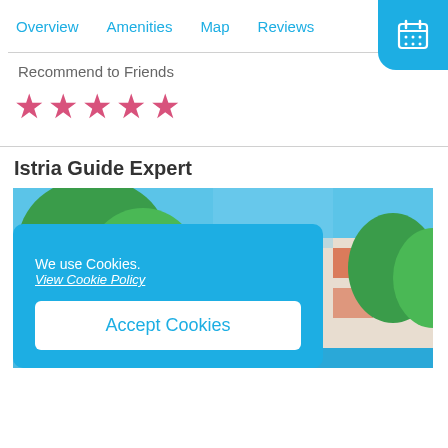Overview  Amenities  Map  Reviews
Recommend to Friends
[Figure (other): Five pink star rating icons]
Istria Guide Expert
[Figure (photo): Outdoor photo showing a swimming pool, villa building, and lush green trees under a blue sky in Istria]
We use Cookies. View Cookie Policy  [Accept Cookies button]